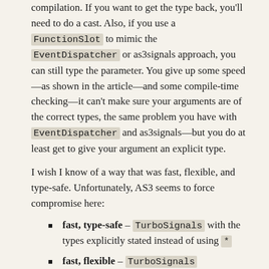compilation. If you want to get the type back, you'll need to do a cast. Also, if you use a FunctionSlot to mimic the EventDispatcher or as3signals approach, you can still type the parameter. You give up some speed—as shown in the article—and some compile-time checking—it can't make sure your arguments are of the correct types, the same problem you have with EventDispatcher and as3signals—but you do at least get to give your argument an explicit type.
I wish I know of a way that was fast, flexible, and type-safe. Unfortunately, AS3 seems to force compromise here:
fast, type-safe – TurboSignals with the types explicitly stated instead of using *
fast, flexible – TurboSignals
flexible, type-safe – No solution?
The key seems to be that all of AS3's dynamic